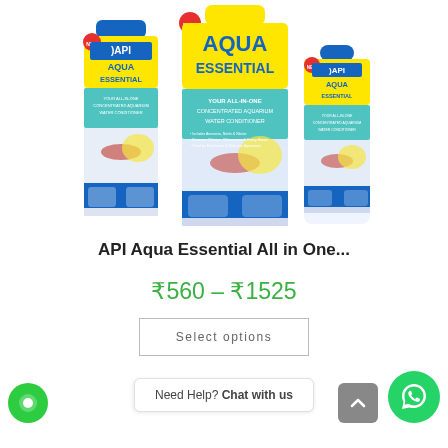[Figure (photo): Three bottles of API Aqua Essential All-in-One Concentrated Aquarium Water Conditioner, shown in different sizes, with blue/yellow branding and fish imagery on the labels.]
API Aqua Essential All in One...
₹560 – ₹1525
Select options
Need Help? Chat with us